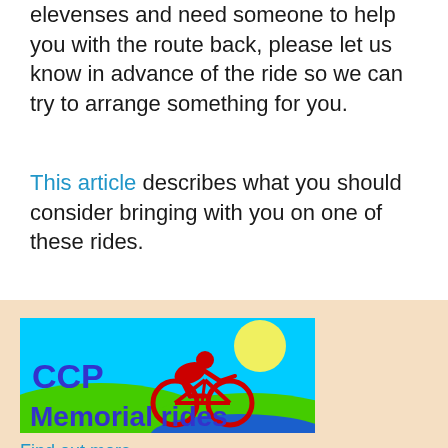elevenses and need someone to help you with the route back, please let us know in advance of the ride so we can try to arrange something for you.
This article describes what you should consider bringing with you on one of these rides.
[Figure (illustration): CCP Memorial rides promotional image: cyan/blue sky background with a yellow sun, green hills, blue water, and a red cyclist on a bicycle. Text reads 'CCP Memorial rides' in large blue letters.]
Find out more